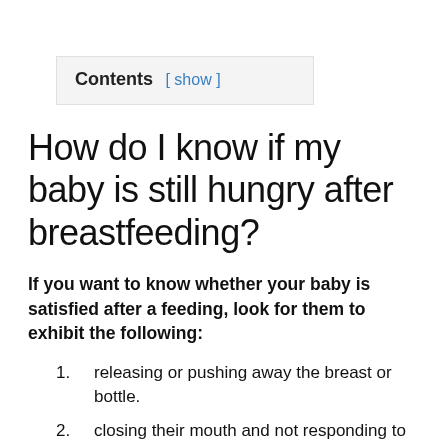Contents [ show ]
How do I know if my baby is still hungry after breastfeeding?
If you want to know whether your baby is satisfied after a feeding, look for them to exhibit the following:
releasing or pushing away the breast or bottle.
closing their mouth and not responding to encouragement to latch on or suck